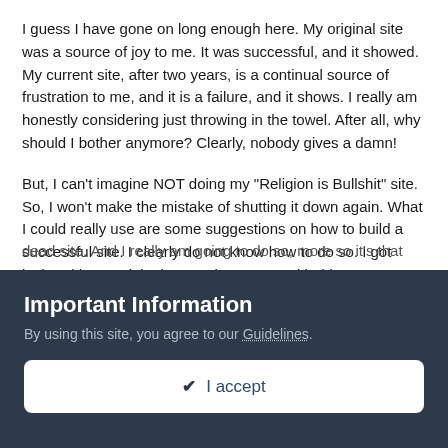I guess I have gone on long enough here. My original site was a source of joy to me. It was successful, and it showed. My current site, after two years, is a continual source of frustration to me, and it is a failure, and it shows. I really am honestly considering just throwing in the towel. After all, why should I bother anymore? Clearly, nobody gives a damn!
But, I can't imagine NOT doing my "Religion is Bullshit" site. So, I won't make the mistake of shutting it down again. What I could really use are some suggestions on how to build a successful site. I clearly do not know how to do so. I got lucky with my original RIBS site. Not so with this one.
Anyway... now that this rant is out of my system, I'm going to try to figure out what to do to bring some success to my currently...
Important Information
By using this site, you agree to our Guidelines.
✔ I accept